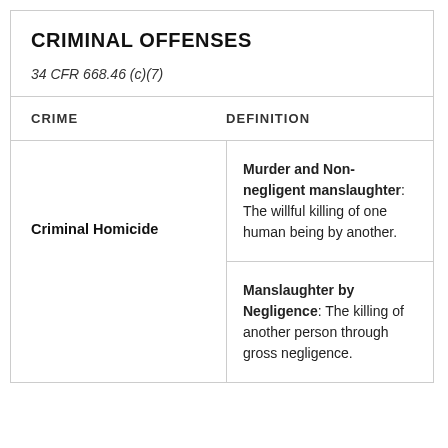CRIMINAL OFFENSES
34 CFR 668.46 (c)(7)
| CRIME | DEFINITION |
| --- | --- |
| Criminal Homicide | Murder and Non-negligent manslaughter: The willful killing of one human being by another.
Manslaughter by Negligence: The killing of another person through gross negligence. |